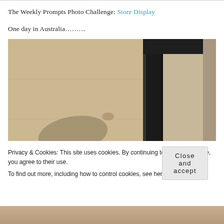The Weekly Prompts Photo Challenge: Store Display
One day in Australia………
[Figure (photo): Close-up photograph of a black metal furniture leg or stand casting a shadow on a light wood floor surface, taken at an angle. A small portion of a wall or door frame is visible on the right.]
Privacy & Cookies: This site uses cookies. By continuing to use this website, you agree to their use.
To find out more, including how to control cookies, see here: Cookie Policy
Close and accept
[Figure (photo): Partial view of another photograph at the bottom of the page, showing a warm-toned scene, mostly cropped out.]